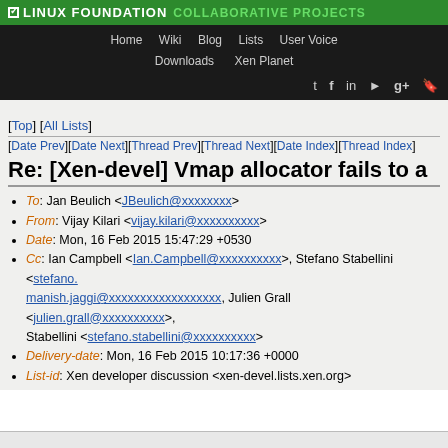LINUX FOUNDATION COLLABORATIVE PROJECTS — Navigation: Home Wiki Blog Lists User Voice Downloads Xen Planet
[Top] [All Lists]
[Date Prev][Date Next][Thread Prev][Thread Next][Date Index][Thread Index]
Re: [Xen-devel] Vmap allocator fails to a
To: Jan Beulich <JBeulich@xxxxxxxx>
From: Vijay Kilari <vijay.kilari@xxxxxxxxxx>
Date: Mon, 16 Feb 2015 15:47:29 +0530
Cc: Ian Campbell <Ian.Campbell@xxxxxxxxxx>, Stefano Stabellini <stefano.>, manish.jaggi@xxxxxxxxxxxxxxxxxx, Julien Grall <julien.grall@xxxxxxxxxx>, Stabellini <stefano.stabellini@xxxxxxxxxx>
Delivery-date: Mon, 16 Feb 2015 10:17:36 +0000
List-id: Xen developer discussion <xen-devel.lists.xen.org>